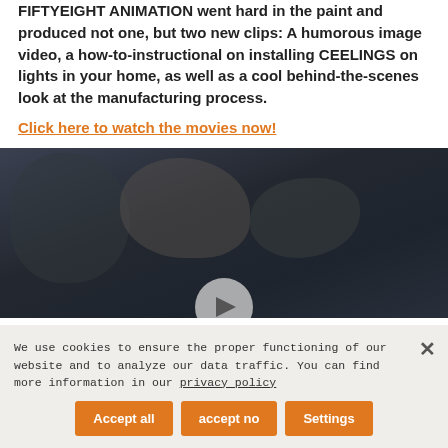FIFTYEIGHT ANIMATION went hard in the paint and produced not one, but two new clips: A humorous image video, a how-to-instructional on installing CEELINGS on lights in your home, as well as a cool behind-the-scenes look at the manufacturing process.
Click here to watch the movies now!
[Figure (photo): Dark background image, partially visible, showing indistinct dark shapes/blobs. A partially visible circular play button is visible at the bottom center.]
We use cookies to ensure the proper functioning of our website and to analyze our data traffic. You can find more information in our privacy policy